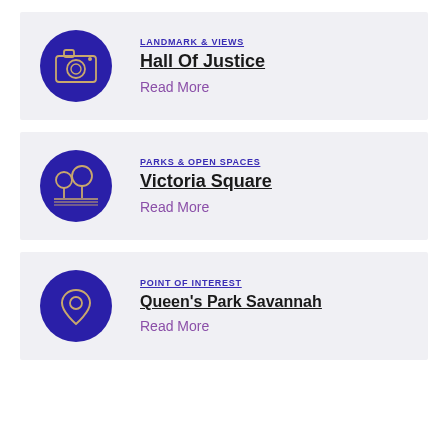LANDMARK & VIEWS — Hall Of Justice — Read More
PARKS & OPEN SPACES — Victoria Square — Read More
POINT OF INTEREST — Queen's Park Savannah — Read More